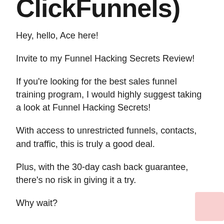ClickFunnels)
Hey, hello, Ace here!
Invite to my Funnel Hacking Secrets Review!
If you're looking for the best sales funnel training program, I would highly suggest taking a look at Funnel Hacking Secrets!
With access to unrestricted funnels, contacts, and traffic, this is truly a good deal.
Plus, with the 30-day cash back guarantee, there's no risk in giving it a try.
Why wait?